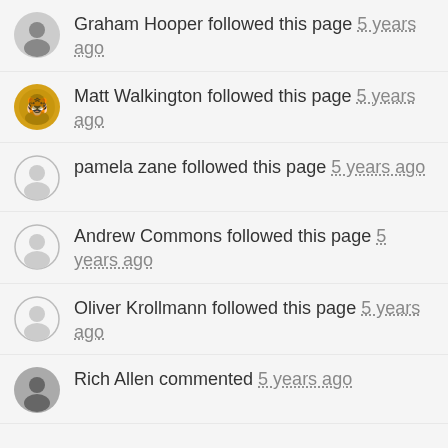Graham Hooper followed this page 5 years ago
Matt Walkington followed this page 5 years ago
pamela zane followed this page 5 years ago
Andrew Commons followed this page 5 years ago
Oliver Krollmann followed this page 5 years ago
Rich Allen commented 5 years ago